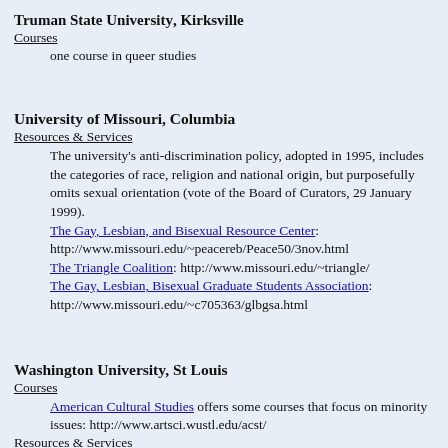Truman State University, Kirksville
Courses
one course in queer studies
University of Missouri, Columbia
Resources & Services
The university's anti-discrimination policy, adopted in 1995, includes the categories of race, religion and national origin, but purposefully omits sexual orientation (vote of the Board of Curators, 29 January 1999). The Gay, Lesbian, and Bisexual Resource Center: http://www.missouri.edu/~peacereb/Peace50/3nov.html The Triangle Coalition: http://www.missouri.edu/~triangle/ The Gay, Lesbian, Bisexual Graduate Students Association: http://www.missouri.edu/~c705363/glbgsa.html
Washington University, St Louis
Courses
American Cultural Studies offers some courses that focus on minority issues: http://www.artsci.wustl.edu/acst/
Resources & Services